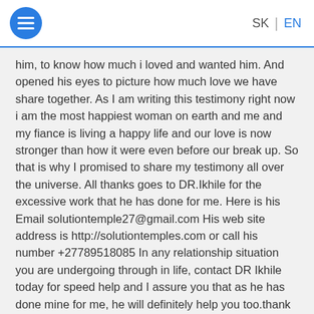SK | EN
him, to know how much i loved and wanted him. And opened his eyes to picture how much love we have share together. As I am writing this testimony right now i am the most happiest woman on earth and me and my fiance is living a happy life and our love is now stronger than how it were even before our break up. So that is why I promised to share my testimony all over the universe. All thanks goes to DR.Ikhile for the excessive work that he has done for me. Here is his Email solutiontemple27@gmail.com His web site address is http://solutiontemples.com or call his number +27789518085 In any relationship situation you are undergoing through in life, contact DR Ikhile today for speed help and I assure you that as he has done mine for me, he will definitely help you too.thank you Dr Ikhile